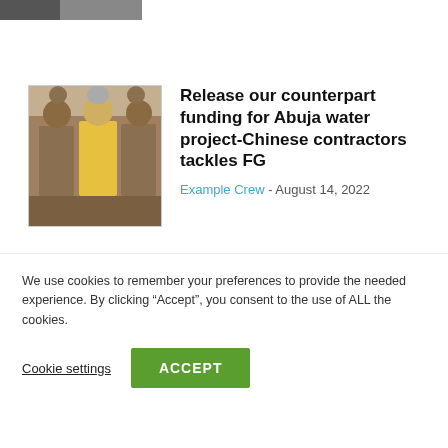[Figure (photo): Partial photo visible at top of page, cropped]
[Figure (photo): Photo of people in uniforms, one wearing a yellow shirt]
Release our counterpart funding for Abuja water project-Chinese contractors tackles FG
Example Crew - August 14, 2022
NO COMMENTS
LEAVE A REPLY
Comment:
We use cookies to remember your preferences to provide the needed experience. By clicking “Accept”, you consent to the use of ALL the cookies.
Cookie settings
ACCEPT